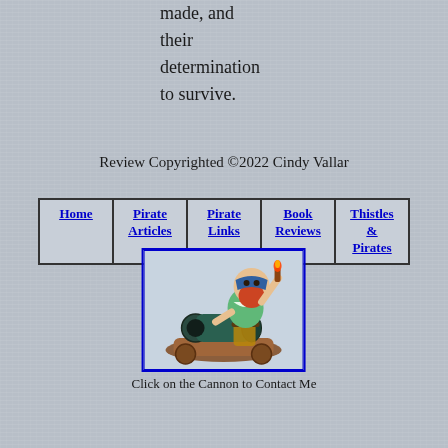made, and their determination to survive.
Review Copyrighted ©2022 Cindy Vallar
| Home | Pirate Articles | Pirate Links | Book Reviews | Thistles & Pirates |
| --- | --- | --- | --- | --- |
[Figure (illustration): Cartoon pirate figure with red beard and blue bandana, leaning over a cannon on a wooden base, holding a lit torch/match. Blue border around image.]
Click on the Cannon to Contact Me